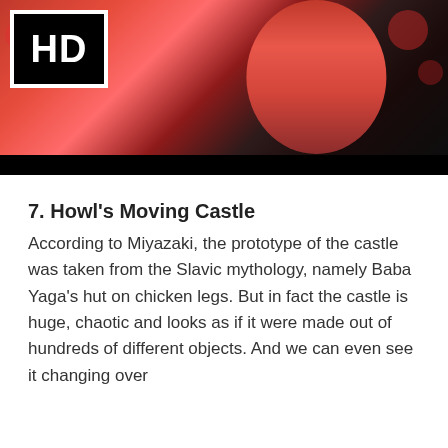[Figure (illustration): Anime screenshot showing a character in a pink outfit from behind, with an HD badge overlay in the top-left corner and bokeh red lights in the background.]
7. Howl's Moving Castle
According to Miyazaki, the prototype of the castle was taken from the Slavic mythology, namely Baba Yaga's hut on chicken legs. But in fact the castle is huge, chaotic and looks as if it were made out of hundreds of different objects. And we can even see it changing over